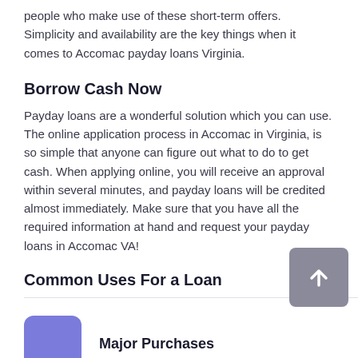people who make use of these short-term offers. Simplicity and availability are the key things when it comes to Accomac payday loans Virginia.
Borrow Cash Now
Payday loans are a wonderful solution which you can use. The online application process in Accomac in Virginia, is so simple that anyone can figure out what to do to get cash. When applying online, you will receive an approval within several minutes, and payday loans will be credited almost immediately. Make sure that you have all the required information at hand and request your payday loans in Accomac VA!
Common Uses For a Loan
[Figure (illustration): Purple rounded square icon representing Major Purchases category]
Major Purchases